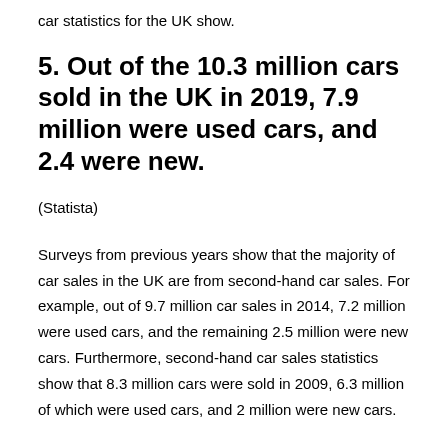car statistics for the UK show.
5. Out of the 10.3 million cars sold in the UK in 2019, 7.9 million were used cars, and 2.4 were new.
(Statista)
Surveys from previous years show that the majority of car sales in the UK are from second-hand car sales. For example, out of 9.7 million car sales in 2014, 7.2 million were used cars, and the remaining 2.5 million were new cars. Furthermore, second-hand car sales statistics show that 8.3 million cars were sold in 2009, 6.3 million of which were used cars, and 2 million were new cars.